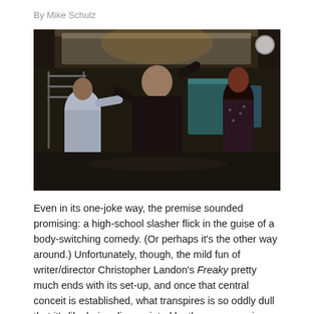By Mike Schulz
[Figure (photo): A scene from a film set in a commercial kitchen. A tall man in a black outfit stands in the center with arms raised, flanked by a shorter person in a light jacket on the left and a woman with curly hair in a dark floral outfit on the right. Industrial kitchen equipment is visible in the background.]
Even in its one-joke way, the premise sounded promising: a high-school slasher flick in the guise of a body-switching comedy. (Or perhaps it's the other way around.) Unfortunately, though, the mild fun of writer/director Christopher Landon's Freaky pretty much ends with its set-up, and once that central conceit is established, what transpires is so oddly dull that it's like being disappointed by the same movie twice. I was hoping for Halloween meets